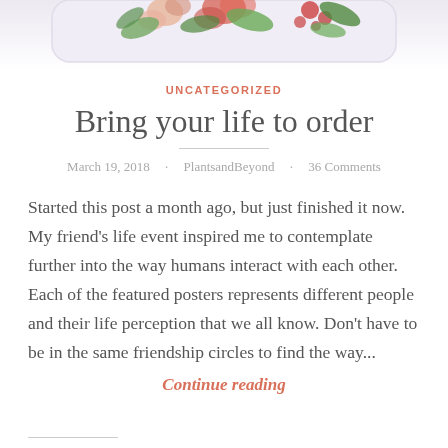[Figure (illustration): Partial floral illustration at the top of the page, showing flowers and green leaves on a light background, cropped at the top edge.]
UNCATEGORIZED
Bring your life to order
March 19, 2018 · PlantsandBeyond · 36 Comments
Started this post a month ago, but just finished it now. My friend's life event inspired me to contemplate further into the way humans interact with each other. Each of the featured posters represents different people and their life perception that we all know. Don't have to be in the same friendship circles to find the way...
Continue reading